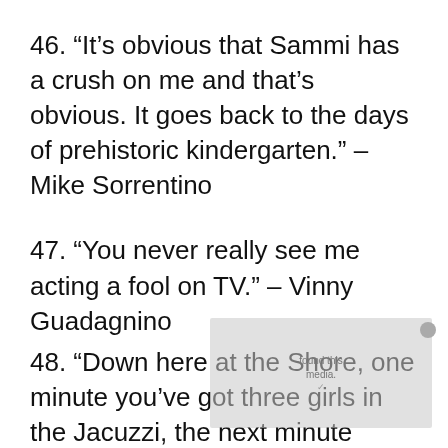46. “It’s obvious that Sammi has a crush on me and that’s obvious. It goes back to the days of prehistoric kindergarten.” – Mike Sorrentino
47. “You never really see me acting a fool on TV.” – Vinny Guadagnino
48. “Down here at the Shore, one minute you’ve got three girls in the Jacuzzi, the next minute somebody’s in